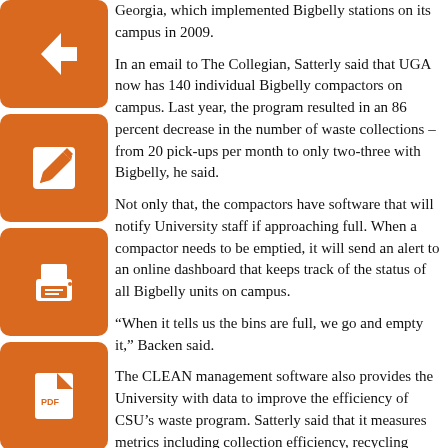Georgia, which implemented Bigbelly stations on its campus in 2009.
In an email to The Collegian, Satterly said that UGA now has 140 individual Bigbelly compactors on campus. Last year, the program resulted in an 86 percent decrease in the number of waste collections – from 20 pick-ups per month to only two-three with Bigbelly, he said.
Not only that, the compactors have software that will notify University staff if approaching full. When a compactor needs to be emptied, it will send an alert to an online dashboard that keeps track of the status of all Bigbelly units on campus.
“When it tells us the bins are full, we go and empty it,” Backen said.
The CLEAN management software also provides the University with data to improve the efficiency of CSU’s waste program. Satterly said that it measures metrics including collection efficiency, recycling diversion and volume per waste stream.
“(Bigbelly stations) allow CSU to reallocate time and resources to more visible, meaningful projects on campus,” Satterly said.
That’s not to mention the environmental impact.